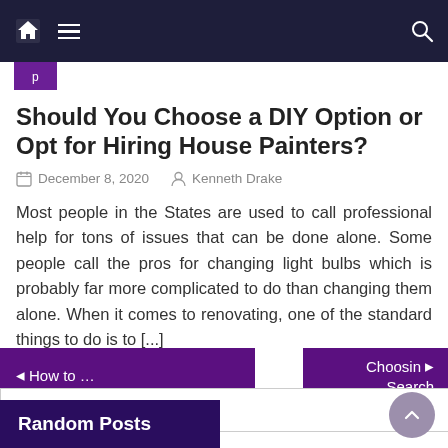Navigation bar with home icon, hamburger menu, and search icon
Should You Choose a DIY Option or Opt for Hiring House Painters?
December 8, 2020   Kenneth Drake
Most people in the States are used to call professional help for tons of issues that can be done alone. Some people call the pros for changing light bulbs which is probably far more complicated to do than changing them alone. When it comes to renovating, one of the standard things to do is to [...]
◄ How to ...
Choosin ► Search
Search ...
Random Posts